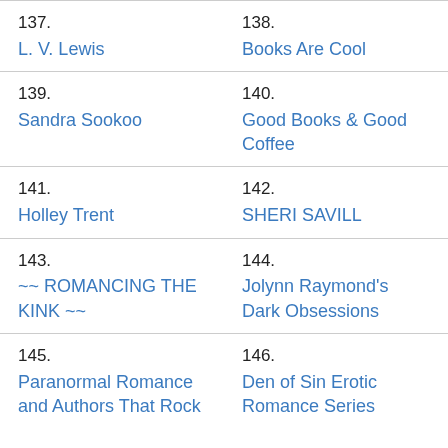137.
L. V. Lewis
138.
Books Are Cool
139.
Sandra Sookoo
140.
Good Books & Good Coffee
141.
Holley Trent
142.
SHERI SAVILL
143.
~~ ROMANCING THE KINK ~~
144.
Jolynn Raymond's Dark Obsessions
145.
Paranormal Romance and Authors That Rock
146.
Den of Sin Erotic Romance Series